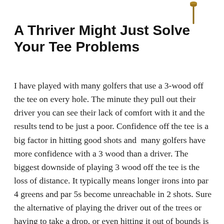[Figure (illustration): A golf tee illustration in brown/tan color, shown vertically at the top right of the page]
A Thriver Might Just Solve Your Tee Problems
I have played with many golfers that use a 3-wood off the tee on every hole.  The minute they pull out their driver you can see their lack of comfort with it and the results tend to be just a poor.  Confidence off the tee is a big factor in hitting good shots and  many golfers have more confidence with a 3 wood than a driver.  The biggest downside of playing 3 wood off the tee is the loss of distance.  It typically means longer irons into par 4 greens and par 5s become unreachable in 2 shots.  Sure the alternative of playing the driver out of the trees or having to take a drop, or even hitting it out of bounds is a worse alternative, but giving up the distance is still hampering their game.  The Morsh 2-wood might just be the club for them.  It is a three-